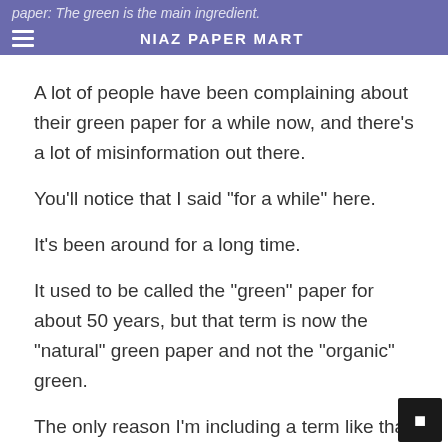paper: The green is the main ingredient. NIAZ PAPER MART
A lot of people have been complaining about their green paper for a while now, and there’s a lot of misinformation out there.
You’ll notice that I said “for a while” here.
It’s been around for a long time.
It used to be called the “green” paper for about 50 years, but that term is now the “natural” green paper and not the “organic” green.
The only reason I’m including a term like that is because there are plenty of organic, natural, and